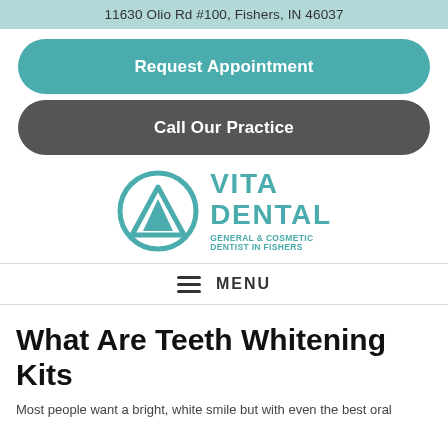11630 Olio Rd #100, Fishers, IN 46037
Request Appointment
Call Our Practice
[Figure (logo): Vita Dental logo — teal circle with a V shape inside, beside text reading VITA DENTAL GENERAL & COSMETIC DENTIST IN FISHERS]
MENU
What Are Teeth Whitening Kits
Most people want a bright, white smile but with even the best oral